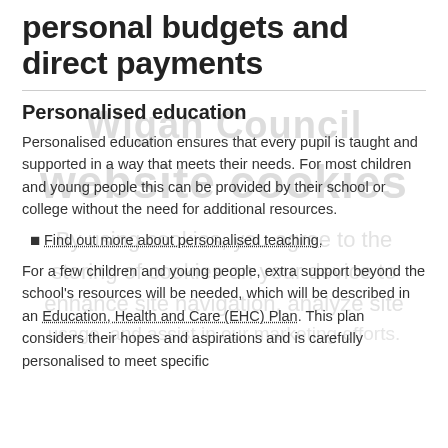personal budgets and direct payments
Personalised education
Personalised education ensures that every pupil is taught and supported in a way that meets their needs. For most children and young people this can be provided by their school or college without the need for additional resources.
Find out more about personalised teaching.
For a few children and young people, extra support beyond the school's resources will be needed, which will be described in an Education, Health and Care (EHC) Plan. This plan considers their hopes and aspirations and is carefully personalised to meet specific